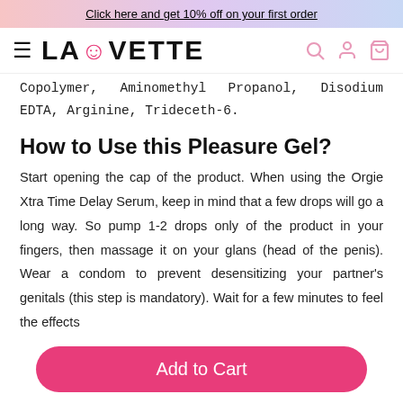Click here and get 10% off on your first order
[Figure (logo): Lauvette brand logo with hamburger menu and navigation icons]
Copolymer, Aminomethyl Propanol, Disodium EDTA, Arginine, Trideceth-6.
How to Use this Pleasure Gel?
Start opening the cap of the product. When using the Orgie Xtra Time Delay Serum, keep in mind that a few drops will go a long way. So pump 1-2 drops only of the product in your fingers, then massage it on your glans (head of the penis). Wear a condom to prevent desensitizing your partner's genitals (this step is mandatory). Wait for a few minutes to feel the effects